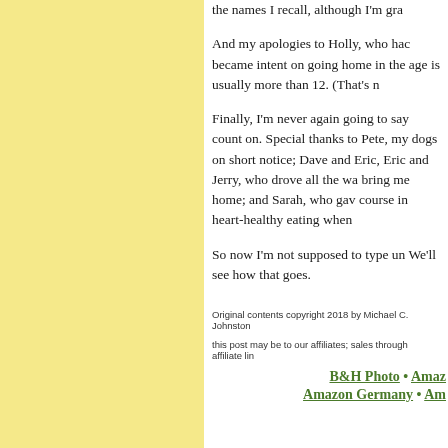the names I recall, although I'm gra
And my apologies to Holly, who had became intent on going home in the age is usually more than 12. (That's n
Finally, I'm never again going to say count on. Special thanks to Pete, my dogs on short notice; Dave and Eric, Eric and Jerry, who drove all the wa bring me home; and Sarah, who gav course in heart-healthy eating when
So now I'm not supposed to type un We'll see how that goes.
Original contents copyright 2018 by Michael C. Johnston
this post may be to our affiliates; sales through affiliate lin
B&H Photo • Amaz
Amazon Germany • Am